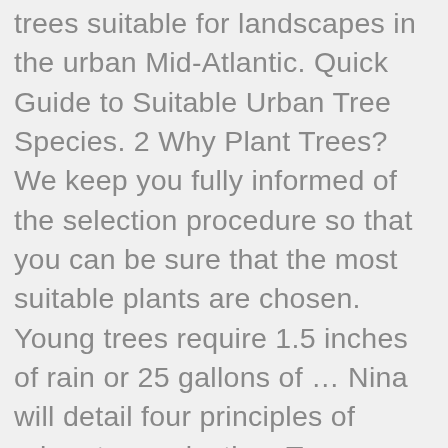trees suitable for landscapes in the urban Mid-Atlantic. Quick Guide to Suitable Urban Tree Species. 2 Why Plant Trees? We keep you fully informed of the selection procedure so that you can be sure that the most suitable plants are chosen. Young trees require 1.5 inches of rain or 25 gallons of … Nina will detail four principles of urban tree selection: Trees should be pest-resistant and adapted to urban conditions. Here we have an assortment of tree species suitable for planting in urban areas. A vigorous and engaged urban forestry program is critical to providing a higher quality of life for residents and visitors in the City of San Diego. As well as providing advice on the general approach to species selection, Tree Species Selection for Green Infrastructure: A Guide for Specifiers includes information for over 280 species on their use-potential, size and crown characteristics, natural habitat, environmental tolerance, ornamental qualities, potential issues to be aware of, and notable varieties. Urban Tree Selection for Sustainability Audio Options. As a result, more and more people are disconnected from natural areas such as forests and are unable to reap the daily benefits they